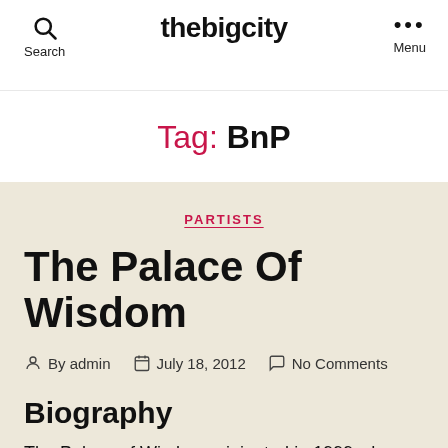thebigcity
Tag: BnP
PARTISTS
The Palace Of Wisdom
By admin  July 18, 2012  No Comments
Biography
The Palace of Wisdom originated in 1999 when well